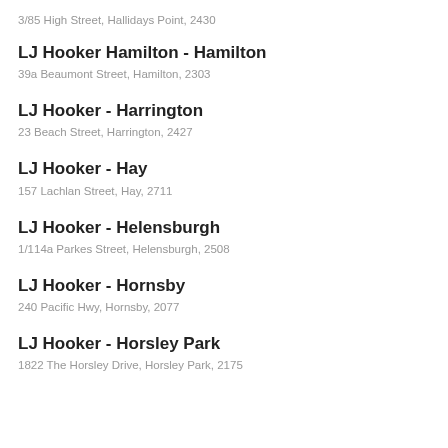3/85 High Street, Hallidays Point, 2430
LJ Hooker Hamilton - Hamilton
39a Beaumont Street, Hamilton, 2303
LJ Hooker - Harrington
23 Beach Street, Harrington, 2427
LJ Hooker - Hay
157 Lachlan Street, Hay, 2711
LJ Hooker - Helensburgh
1/114a Parkes Street, Helensburgh, 2508
LJ Hooker - Hornsby
240 Pacific Hwy, Hornsby, 2077
LJ Hooker - Horsley Park
1822 The Horsley Drive, Horsley Park, 2175